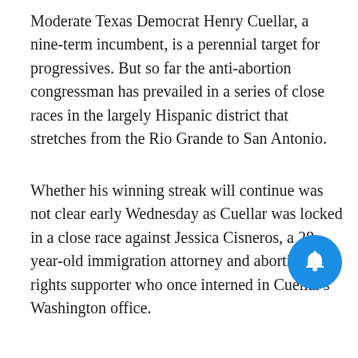Moderate Texas Democrat Henry Cuellar, a nine-term incumbent, is a perennial target for progressives. But so far the anti-abortion congressman has prevailed in a series of close races in the largely Hispanic district that stretches from the Rio Grande to San Antonio.
Whether his winning streak will continue was not clear early Wednesday as Cuellar was locked in a close race against Jessica Cisneros, a 28-year-old immigration attorney and abortion rights supporter who once interned in Cuellar's Washington office.
The race was too early to call Wednesday morning.
The race is Cisneros' second attempt at ousting Cuellar, whom she lost to by 4 percentage points in 2020. She came within 1,000 votes of Cuellar in Texas' March primary, forcing